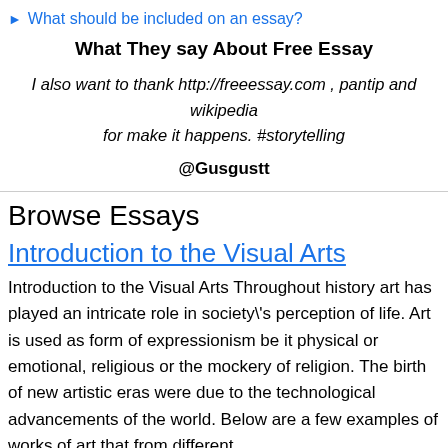▶ What should be included on an essay?
What They say About Free Essay
I also want to thank http://freeessay.com , pantip and wikipedia for make it happens. #storytelling
@Gusgustt
Browse Essays
Introduction to the Visual Arts
Introduction to the Visual Arts Throughout history art has played an intricate role in society\'s perception of life. Art is used as form of expressionism be it physical or emotional, religious or the mockery of religion. The birth of new artistic eras were due to the technological advancements of the world. Below are a few examples of works of art that from different